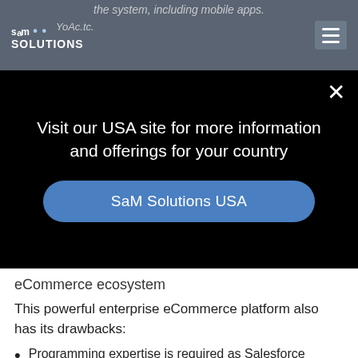the system, including mobile apps.
YoAc.tc.
[Figure (logo): SaM Solutions logo with dots and menu hamburger button]
Visit our USA site for more information and offerings for your country
SaM Solutions USA
eCommerce ecosystem
This powerful enterprise eCommerce platform also has its drawbacks:
Programming expertise is required as Salesforce development is not intuitive.
Sales-based pricing may lead to an extremely high final cost.